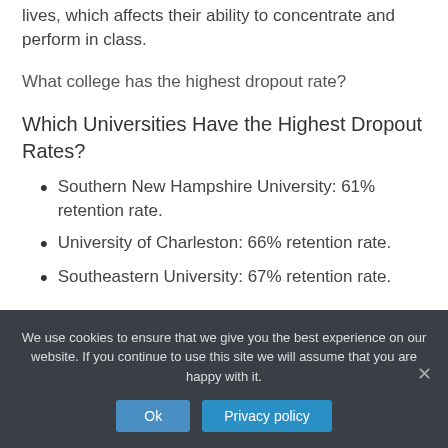lives, which affects their ability to concentrate and perform in class.
What college has the highest dropout rate?
Which Universities Have the Highest Dropout Rates?
Southern New Hampshire University: 61% retention rate.
University of Charleston: 66% retention rate.
Southeastern University: 67% retention rate.
We use cookies to ensure that we give you the best experience on our website. If you continue to use this site we will assume that you are happy with it.